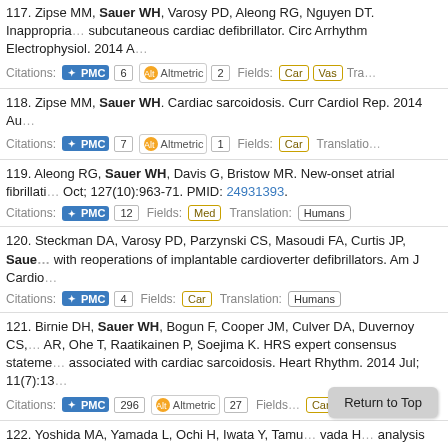117. Zipse MM, Sauer WH, Varosy PD, Aleong RG, Nguyen DT. Inappropria... subcutaneous cardiac defibrillator. Circ Arrhythm Electrophysiol. 2014 A... Citations: PMC 6 Altmetric 2 Fields: Car Vas Tra...
118. Zipse MM, Sauer WH. Cardiac sarcoidosis. Curr Cardiol Rep. 2014 Au... Citations: PMC 7 Altmetric 1 Fields: Car Translation:
119. Aleong RG, Sauer WH, Davis G, Bristow MR. New-onset atrial fibrillati... Oct; 127(10):963-71. PMID: 24931393. Citations: PMC 12 Fields: Med Translation: Humans
120. Steckman DA, Varosy PD, Parzynski CS, Masoudi FA, Curtis JP, Saue... with reoperations of implantable cardioverter defibrillators. Am J Cardio... Citations: PMC 4 Fields: Car Translation: Humans
121. Birnie DH, Sauer WH, Bogun F, Cooper JM, Culver DA, Duvernoy CS,... AR, Ohe T, Raatikainen P, Soejima K. HRS expert consensus stateme... associated with cardiac sarcoidosis. Heart Rhythm. 2014 Jul; 11(7):13... Citations: PMC 296 Altmetric 27 Fields: Car Translatio...
122. Yoshida MA, Yamada L, Ochi H, Iwata Y, Tamu... vada H... analysis reveals differentially distributed proteins in dimorphic eusperm...
Return to Top